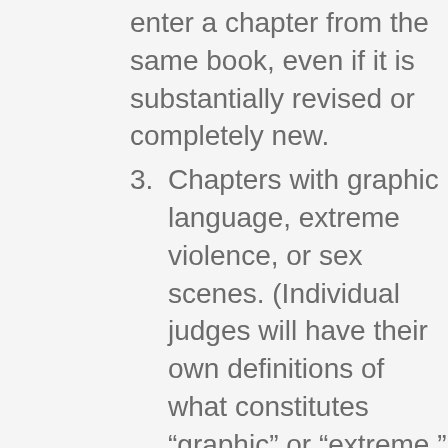enter a chapter from the same book, even if it is substantially revised or completely new.
3. Chapters with graphic language, extreme violence, or sex scenes. (Individual judges will have their own definitions of what constitutes “graphic” or “extreme.” If a judge flags an entry, the contest committee will evaluate the chapter and make a ruling.)
4. Chapters with the author’s name anywhere in the body, header, or footer of